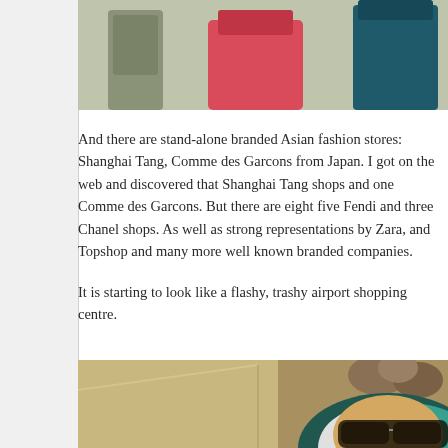[Figure (photo): Top portion of a photo showing fashion mannequins or clothing displays including a pink/red garment and a teal/dark garment against a light background]
And there are stand-alone branded Asian fashion stores: Shanghai Tang, Comme des Garcons from Japan. I got on the web and discovered that Shanghai Tang shops and one Comme des Garcons. But there are eight five Fendi and three Chanel shops. As well as strong representations by Zara, and Topshop and many more well known branded companies.
It is starting to look like a flashy, trashy airport shopping centre.
[Figure (photo): Photo of a person wearing a two-toned (teal and white/blonde) bob-cut wig and large aviator sunglasses, photographed in what appears to be an interior space with beige/cream walls]